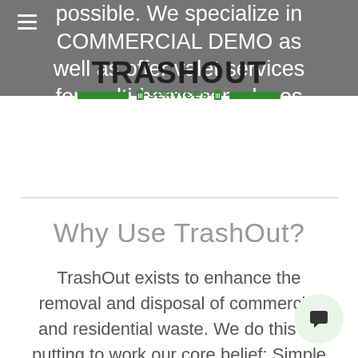possible. We specialize in COMMERCIAL DEMO as well as offer valet services for multi-home complexes
[Figure (logo): TrashOut Services logo with bold black TRASHOUT text and green SERVICES bar with trash can icons and green horizontal bars on either side]
Why Use TrashOut?
TrashOut exists to enhance the removal and disposal of commercial and residential waste. We do this by putting to work our core belief: Simple